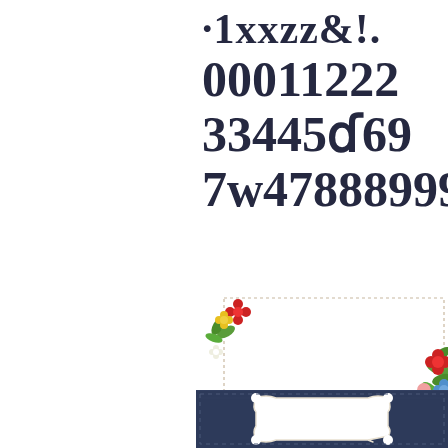[Figure (illustration): Large bold serif alphabet/number sticker sheet showing characters: ·1xxzz&!. 0011222 3345569 7477888999 in dark navy/black on white background, partially cropped on right side]
[Figure (illustration): Decorative card/label template with white background, dotted border stitching, and colorful floral decorations in red, yellow, pink, blue, and green at top-left and bottom-right corners]
[Figure (illustration): Dark navy denim-textured rectangular card/label with white ornate scalloped/bracket frame in the center, stitched border detail]